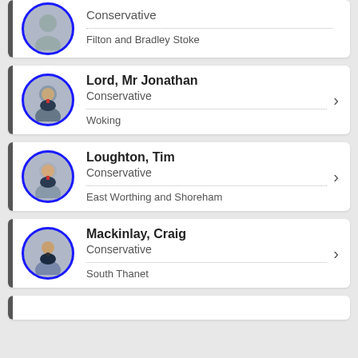Conservative | Filton and Bradley Stoke
Lord, Mr Jonathan | Conservative | Woking
Loughton, Tim | Conservative | East Worthing and Shoreham
Mackinlay, Craig | Conservative | South Thanet